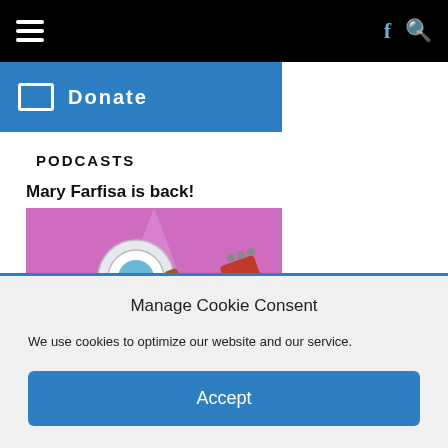Navigation bar with hamburger menu, Facebook icon, and search icon
[Figure (other): Blue donate button with card icon and 'Donate' text]
PODCASTS
Mary Farfisa is back!
[Figure (illustration): Cartoon robot character playing a red guitar on a purple/pink background]
Manage Cookie Consent
We use cookies to optimize our website and our service.
Accept